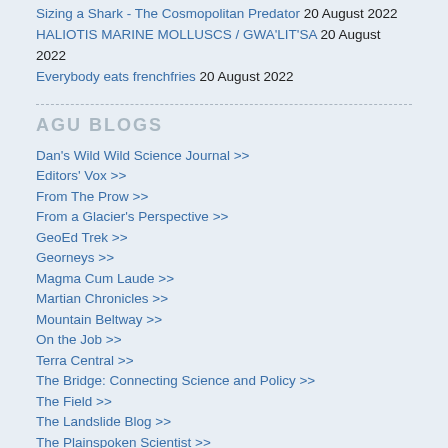Sizing a Shark - The Cosmopolitan Predator 20 August 2022
HALIOTIS MARINE MOLLUSCS / GWA'LIT'SA 20 August 2022
Everybody eats frenchfries 20 August 2022
AGU BLOGS
Dan's Wild Wild Science Journal >>
Editors' Vox >>
From The Prow >>
From a Glacier's Perspective >>
GeoEd Trek >>
Georneys >>
Magma Cum Laude >>
Martian Chronicles >>
Mountain Beltway >>
On the Job >>
Terra Central >>
The Bridge: Connecting Science and Policy >>
The Field >>
The Landslide Blog >>
The Plainspoken Scientist >>
The Trembling Earth >>
Third Pod from the Sun>>
Thriving Earth Exchange>>